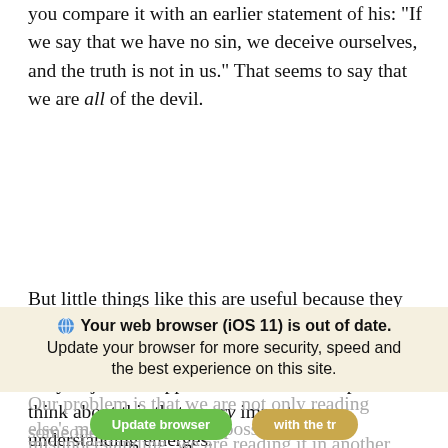you compare it with an earlier statement of his: "If we say that we have no sin, we deceive ourselves, and the truth is not in us." That seems to say that we are all of the devil.
But little things like this are useful because they cause us to stop and think. I realize that thinking about the Bible is a novel idea, but it is really okay. It just so happens that when we stop and think about this that a very important understanding emerges.
Our problem is that we are not only reading someone else's mail with all those possibilities for misunderstanding, we are reading it in another language and with the translator's
[Figure (screenshot): Browser update notification banner: 'Your web browser (iOS 11) is out of date. Update your browser for more security, speed and the best experience on this site.' with green 'Update browser' button and yellow/tan button.]